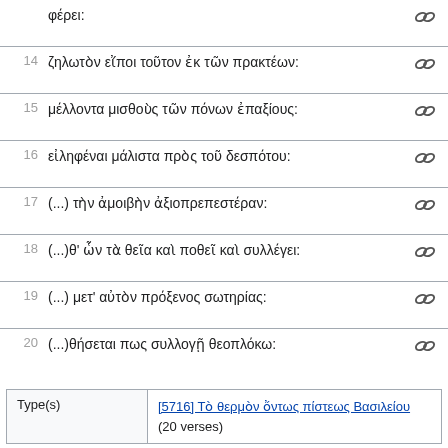φέρει:
14 ζηλωτὸν εἴποι τοῦτον ἐκ τῶν πρακτέων:
15 μέλλοντα μισθοὺς τῶν πόνων ἐπαξίους:
16 εἰληφέναι μάλιστα πρὸς τοῦ δεσπότου:
17 (...) τὴν ἀμοιβὴν ἀξιοπρεπεστέραν:
18 (...)θ' ὧν τὰ θεῖα καὶ ποθεῖ καὶ συλλέγει:
19 (...) μετ' αὐτὸν πρόξενος σωτηρίας:
20 (...)θήσεται πως συλλογῇ θεοπλόκω:
| Type(s) |  |
| --- | --- |
| Type(s) | [5716] Τὸ θερμὸν ὄντως πίστεως Βασιλείου (20 verses) |